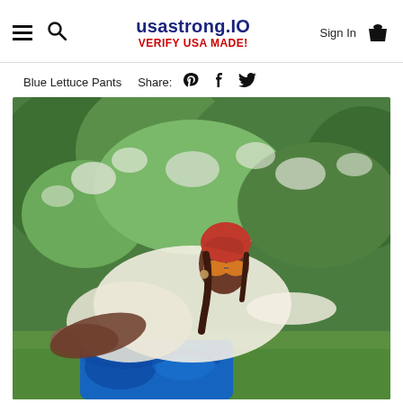usastrong.IO — VERIFY USA MADE! — Sign In — Cart
Blue Lettuce Pants   Share:
[Figure (photo): A woman wearing blue lettuce pants, a sheer top, red bandana headwrap, and orange sunglasses, sitting outdoors in front of green bushes.]